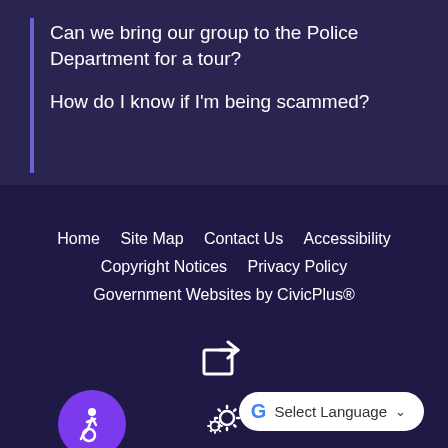Can we bring our group to the Police Department for a tour?
How do I know if I'm being scammed?
Home   Site Map   Contact Us   Accessibility   Copyright Notices   Privacy Policy   Government Websites by CivicPlus®